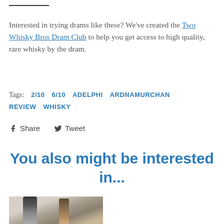Interested in trying drams like these? We've created the Two Whisky Bros Dram Club to help you get access to high quality, rare whisky by the dram.
Tags: 2/10  6/10  ADELPHI  ARDNAMURCHAN  REVIEW  WHISKY
Share  Tweet
You also might be interested in...
[Figure (photo): Two whisky bottles on a fur or textured fabric background]